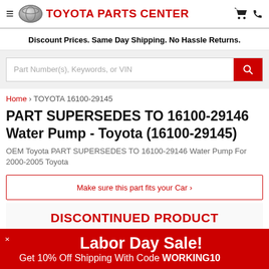TOYOTA PARTS CENTER
Discount Prices. Same Day Shipping. No Hassle Returns.
PART SUPERSEDES TO 16100-29146 Water Pump - Toyota (16100-29145)
OEM Toyota PART SUPERSEDES TO 16100-29146 Water Pump For 2000-2005 Toyota
Make sure this part fits your Car ›
DISCONTINUED PRODUCT
Labor Day Sale! Get 10% Off Shipping With Code WORKING10